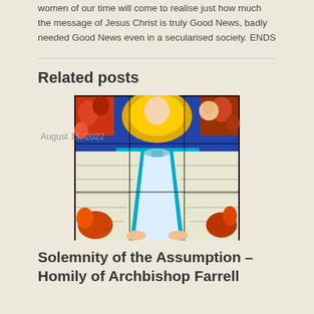women of our time will come to realise just how much the message of Jesus Christ is truly Good News, badly needed Good News even in a secularised society. ENDS
Related posts
August 15, 2022
[Figure (photo): Stained glass window depicting the Virgin Mary in blue robes with angels and colorful decorative elements]
Solemnity of the Assumption – Homily of Archbishop Farrell